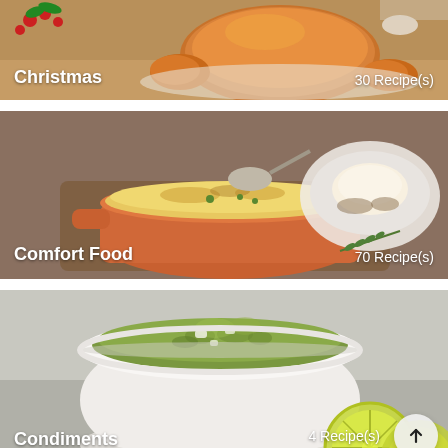[Figure (photo): Christmas recipe category card showing a roasted turkey/chicken dish with berries and garnish. White text overlay reads 'Christmas' on the left and '30 Recipe(s)' on the right.]
[Figure (photo): Comfort Food recipe category card showing a shepherd's pie in an orange ceramic dish with mashed potato topping and a plate of mashed potatoes with mushroom sauce in background. White text overlay reads 'Comfort Food' on left and '70 Recipe(s)' on right.]
[Figure (photo): Condiments recipe category card showing a white bowl filled with a green herb and vegetable condiment (pesto/chimichurri style), with lime halves visible in lower right corner. White text overlay reads 'Condiments' on left and '4 Recipe(s)' on right. A circular scroll-to-top button is overlaid on the lower right.]
[Figure (photo): Partial view of a fourth recipe category card with teal/turquoise background, cropped at the bottom of the page.]